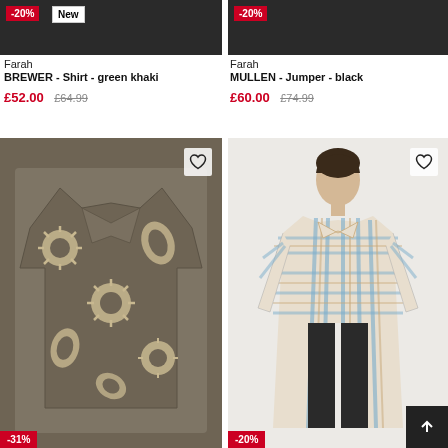[Figure (photo): Dark clothing product photo top left with -20% and New badges]
[Figure (photo): Dark clothing product photo top right with -20% badge]
Farah
BREWER - Shirt - green khaki
£52.00  £64.99
Farah
MULLEN - Jumper - black
£60.00  £74.99
[Figure (photo): Dark olive paisley/sun pattern short sleeve shirt product photo with -31% badge]
[Figure (photo): Male model wearing blue/beige plaid check long sleeve shirt with dark trousers, -20% badge]